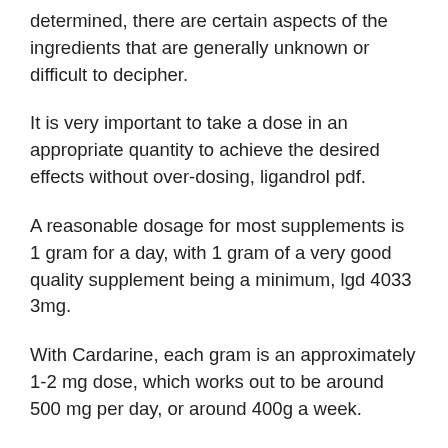determined, there are certain aspects of the ingredients that are generally unknown or difficult to decipher.
It is very important to take a dose in an appropriate quantity to achieve the desired effects without over-dosing, ligandrol pdf.
A reasonable dosage for most supplements is 1 gram for a day, with 1 gram of a very good quality supplement being a minimum, lgd 4033 3mg.
With Cardarine, each gram is an approximately 1-2 mg dose, which works out to be around 500 mg per day, or around 400g a week.
While it is difficult to gauge how quickly the effects are going to be produced by combining Cardarine and LGD 4033 , it is expected that both will be present within